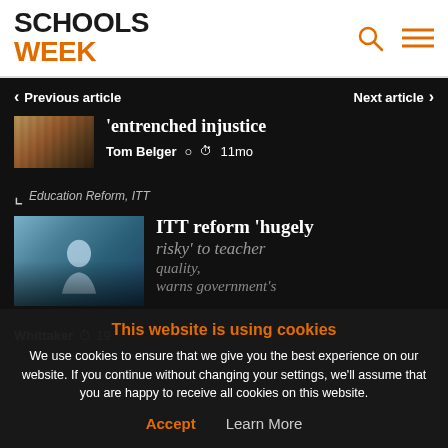SCHOOLS WEEK
Previous article
Next article
'entrenched injustice
Tom Belger  11mo
Education Reform, ITT
ITT reform 'hugely risky' to teacher quality, warns government's
Whittaker  19
This website is using cookies
We use cookies to ensure that we give you the best experience on our website. If you continue without changing your settings, we'll assume that you are happy to receive all cookies on this website.
Accept   Learn More